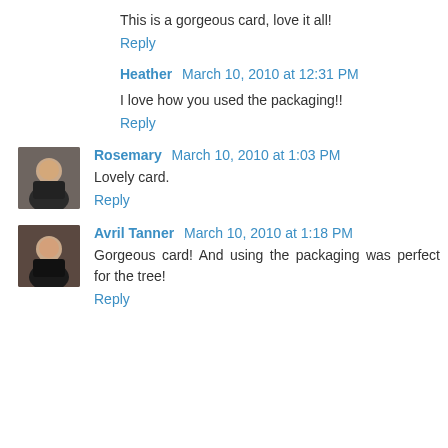This is a gorgeous card, love it all!
Reply
Heather  March 10, 2010 at 12:31 PM
I love how you used the packaging!!
Reply
Rosemary  March 10, 2010 at 1:03 PM
Lovely card.
Reply
Avril Tanner  March 10, 2010 at 1:18 PM
Gorgeous card! And using the packaging was perfect for the tree!
Reply